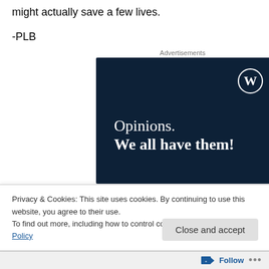might actually save a few lives.
-PLB
Advertisements
[Figure (illustration): WordPress advertisement banner with dark navy background, WordPress logo (W in circle) top right, text reading 'Opinions. We all have them!']
Privacy & Cookies: This site uses cookies. By continuing to use this website, you agree to their use.
To find out more, including how to control cookies, see here: Cookie Policy
Close and accept
Follow ...